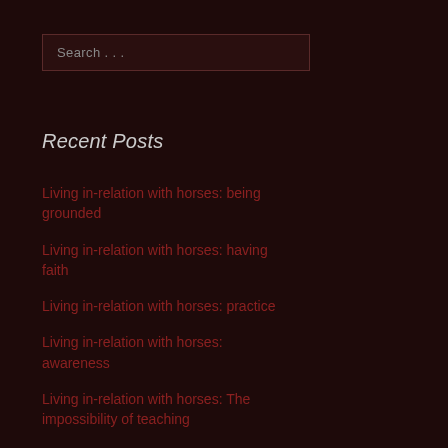Search . . .
Recent Posts
Living in-relation with horses: being grounded
Living in-relation with horses: having faith
Living in-relation with horses: practice
Living in-relation with horses: awareness
Living in-relation with horses: The impossibility of teaching